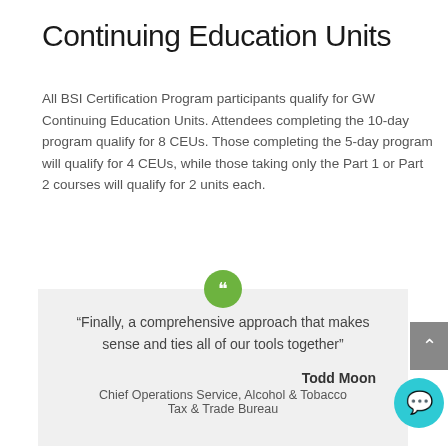Continuing Education Units
All BSI Certification Program participants qualify for GW Continuing Education Units. Attendees completing the 10-day program qualify for 8 CEUs. Those completing the 5-day program will qualify for 4 CEUs, while those taking only the Part 1 or Part 2 courses will qualify for 2 units each.
“Finally, a comprehensive approach that makes sense and ties all of our tools together”
Todd Moon
Chief Operations Service, Alcohol & Tobacco Tax & Trade Bureau